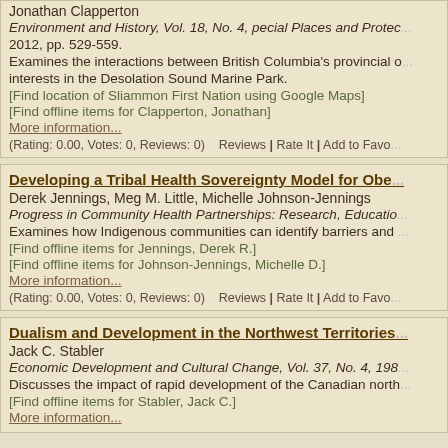Jonathan Clapperton
Environment and History, Vol. 18, No. 4, pecial Places and Protec... 2012, pp. 529-559.
Examines the interactions between British Columbia's provincial o... interests in the Desolation Sound Marine Park.
[Find location of Sliammon First Nation using Google Maps]
[Find offline items for Clapperton, Jonathan]
More information...
(Rating: 0.00, Votes: 0, Reviews: 0)   Reviews | Rate It | Add to Favo...
Developing a Tribal Health Sovereignty Model for Obes...
Derek Jennings, Meg M. Little, Michelle Johnson-Jennings
Progress in Community Health Partnerships: Research, Educatio...
Examines how Indigenous communities can identify barriers and...
[Find offline items for Jennings, Derek R.]
[Find offline items for Johnson-Jennings, Michelle D.]
More information...
(Rating: 0.00, Votes: 0, Reviews: 0)   Reviews | Rate It | Add to Favo...
Dualism and Development in the Northwest Territories...
Jack C. Stabler
Economic Development and Cultural Change, Vol. 37, No. 4, 198...
Discusses the impact of rapid development of the Canadian north...
[Find offline items for Stabler, Jack C.]
More information...